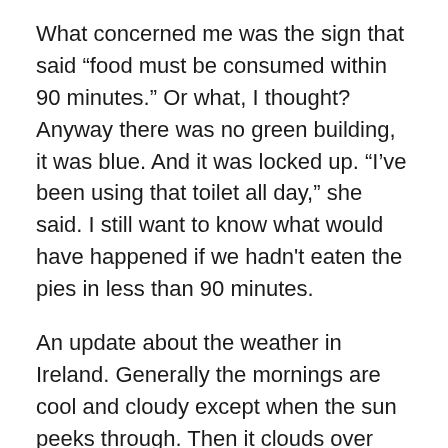What concerned me was the sign that said “food must be consumed within 90 minutes.” Or what, I thought? Anyway there was no green building, it was blue. And it was locked up. “I’ve been using that toilet all day,” she said. I still want to know what would have happened if we hadn't eaten the pies in less than 90 minutes.
An update about the weather in Ireland. Generally the mornings are cool and cloudy except when the sun peeks through. Then it clouds over until it sprinkles. Suddenly the clouds dissipate and the sun comes out. Grab your camera and look for the rainbow. Oops too late. It’s cloudy again and warm. Take off your sweater. Your face flushes with perspiration just before a cold breeze makes you put your sweater back on. There’s the sun again, you sly dog. Stay there!! No it’s gone and a gentle rain begins to fall as you put your raincoat on. Time to eat breakfast.